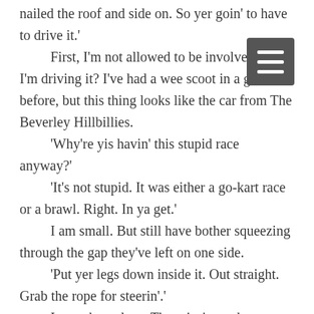nailed the roof and side on. So yer goin' to have to drive it.' First, I'm not allowed to be involved now I'm driving it? I've had a wee scoot in a go-kart before, but this thing looks like the car from The Beverley Hillbillies. 'Why're yis havin' this stupid race anyway?' 'It's not stupid. It was either a go-kart race or a brawl. Right. In ya get.' I am small. But still have bother squeezing through the gap they've left on one side. 'Put yer legs down inside it. Out straight. Grab the rope for steerin'.' I stretch my legs. There isn't much room. Find a loop of rope. 'Alright. I'm in. Got the rope.' I have to raise my chin to see through the wire window. 'Right. Let's go. Pull on the left to go left.